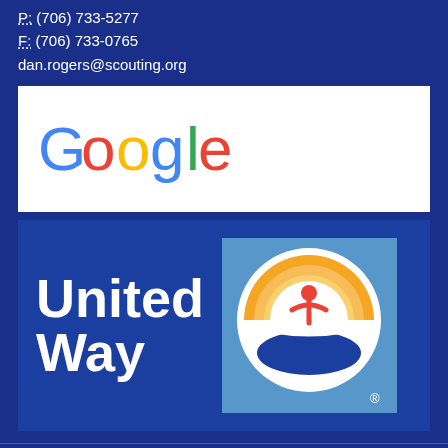P: (706) 733-5277
F: (706) 733-0765
dan.rogers@scouting.org
[Figure (logo): Google logo in multicolor (blue G, red o, yellow o, blue g, green l, red e)]
[Figure (logo): United Way logo — white bold text 'United Way' on dark blue background, with United Way circular icon (person with raised arms over a hand, surrounded by orange rainbow arcs) on light blue square background]
Copyright © 2009 - 2022 Georgia-Carolina Council, Boy Scouts of America. All rights reserved.